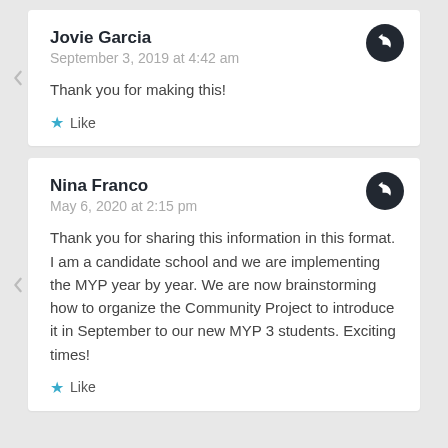Jovie Garcia
September 3, 2019 at 4:42 am
Thank you for making this!
Like
Nina Franco
May 6, 2020 at 2:15 pm
Thank you for sharing this information in this format. I am a candidate school and we are implementing the MYP year by year. We are now brainstorming how to organize the Community Project to introduce it in September to our new MYP 3 students. Exciting times!
Like